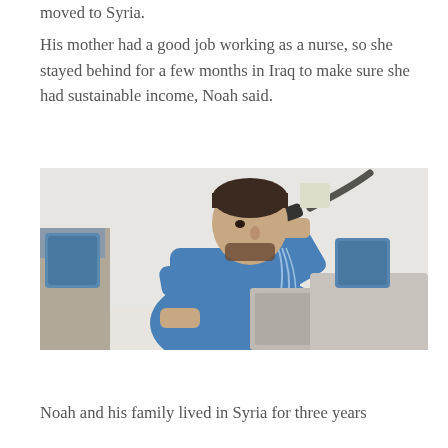moved to Syria.
His mother had a good job working as a nurse, so she stayed behind for a few months in Iraq to make sure she had sustainable income, Noah said.
[Figure (photo): A man in blue scrubs/uniform using a hose spray nozzle at a stainless steel sink, water visible flowing.]
Noah and his family lived in Syria for three years